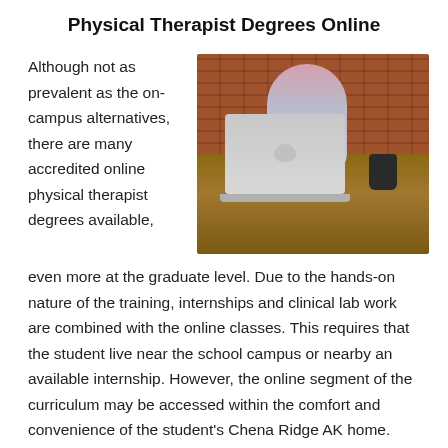Physical Therapist Degrees Online
Although not as prevalent as the on-campus alternatives, there are many accredited online physical therapist degrees available,
[Figure (photo): Woman with glasses sitting at a wooden desk working on a MacBook laptop, brick wall background, coffee mug on desk]
even more at the graduate level. Due to the hands-on nature of the training, internships and clinical lab work are combined with the online classes. This requires that the student live near the school campus or nearby an available internship. However, the online segment of the curriculum may be accessed within the comfort and convenience of the student's Chena Ridge AK home. Online schools are not only partially more accessible, but in many instances more economical. Tuition might be somewhat lower than